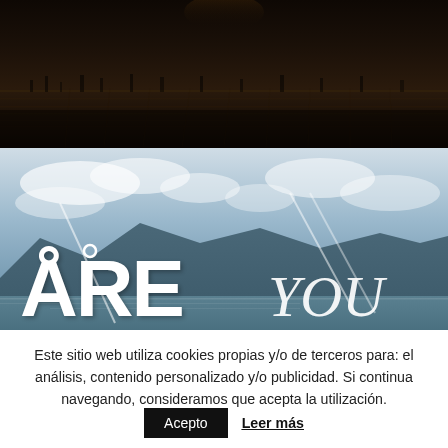[Figure (photo): Aerial/landscape view of agricultural fields at dusk or dawn with dark tones, rows of trees visible on horizon]
[Figure (photo): Aerial scenic mountain and lake landscape with cloudy sky; large white text overlay reading 'ÅRE YOU' in bold and italic fonts with diagonal slash graphic elements]
Este sitio web utiliza cookies propias y/o de terceros para: el análisis, contenido personalizado y/o publicidad. Si continua navegando, consideramos que acepta la utilización.
Acepto
Leer más